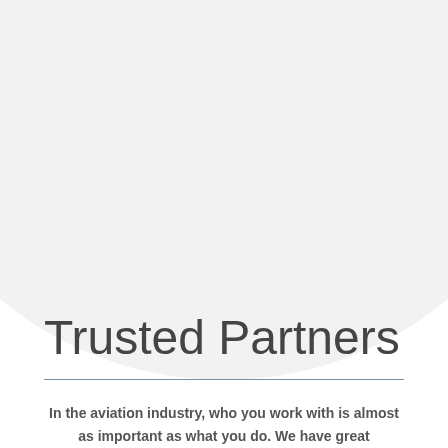[Figure (illustration): Large light gray circle shape cropped at the top of the page, serving as a decorative background element.]
Trusted Partners
In the aviation industry, who you work with is almost as important as what you do.  We have great